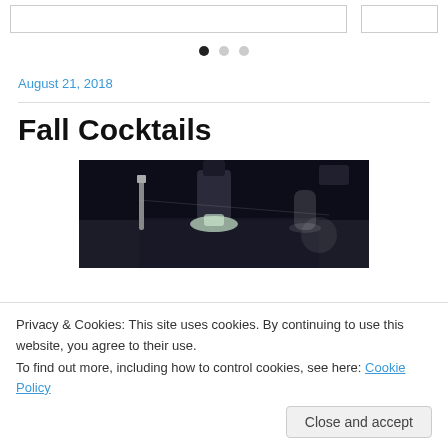[Figure (screenshot): Partial view of two card/carousel elements at the top of the page with navigation dots below.]
August 21, 2018
Fall Cocktails
[Figure (photo): Dark photograph of cocktail-making equipment — bottles, shaker, glass implements on a dotted surface under low lighting.]
Privacy & Cookies: This site uses cookies. By continuing to use this website, you agree to their use.
To find out more, including how to control cookies, see here: Cookie Policy
Close and accept